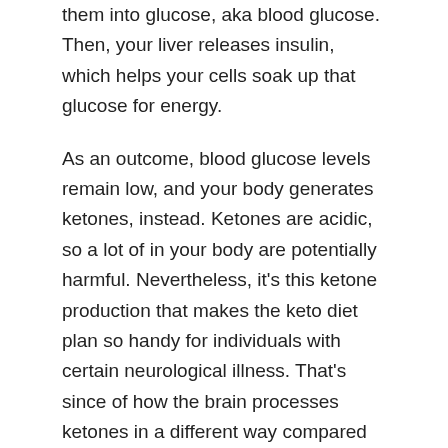them into glucose, aka blood glucose. Then, your liver releases insulin, which helps your cells soak up that glucose for energy.
As an outcome, blood glucose levels remain low, and your body generates ketones, instead. Ketones are acidic, so a lot of in your body are potentially harmful. Nevertheless, it's this ketone production that makes the keto diet plan so handy for individuals with certain neurological illness. That's since of how the brain processes ketones in a different way compared to glucose.
Keto Diet Basics
ATP is
basically
your brain's
version of